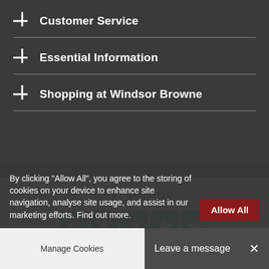Customer Service
Essential Information
Shopping at Windsor Browne
Excellent
[Figure (other): Trustpilot rating: 4.5 out of 5 stars (5 green star boxes, last one partial)]
Based on 211 reviews
[Figure (logo): Trustpilot logo with green star]
By clicking “Allow All”, you agree to the storing of cookies on your device to enhance site navigation, analyse site usage, and assist in our marketing efforts. Find out more.
Manage Cookies
Leave a message